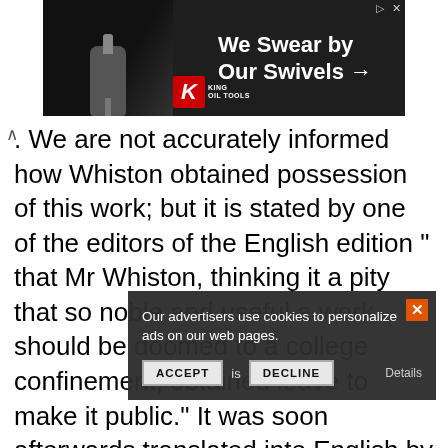[Figure (screenshot): King Oil Tools advertisement banner with logo and text 'We Swear by Our Swivels →' on dark background]
We are not accurately informed how Whiston obtained possession of this work; but it is stated by one of the editors of the English edition " that Mr Whiston, thinking it a pity that so noble and useful a work should be doomed to a college confinement, obtained leave to make it public." It was soon afterwards translated into English by Raphson; and a second edition of it, with improvements by the author, was published at London in 1712, by Dr Machin, secretary to the Royal Society. With the view of stimulating mathematicians to write annotations is e work, the celebrated 's Gravesande published a tract, entitled Specimen Commentarii in Arithmeticam